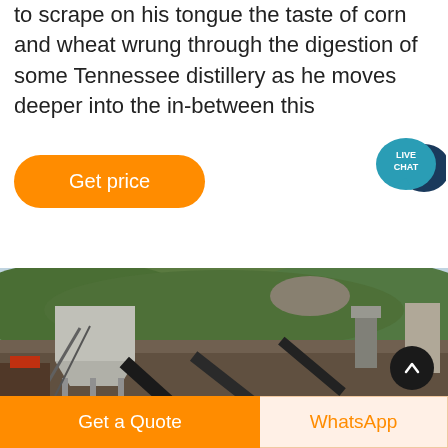to scrape on his tongue the taste of corn and wheat wrung through the digestion of some Tennessee distillery as he moves deeper into the in-between this
[Figure (other): Live Chat speech bubble icon in teal/dark blue]
Get price
[Figure (photo): Industrial quarry or mining facility with conveyor belts, hoppers, and machinery against a green hillside backdrop]
Get a Quote
WhatsApp